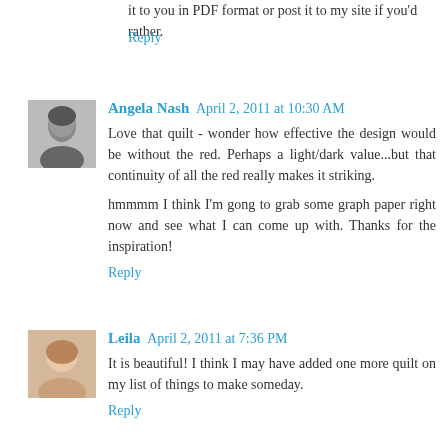it to you in PDF format or post it to my site if you'd rather.
Reply
Angela Nash  April 2, 2011 at 10:30 AM
Love that quilt - wonder how effective the design would be without the red. Perhaps a light/dark value...but that continuity of all the red really makes it striking.
hmmmm I think I'm gong to grab some graph paper right now and see what I can come up with. Thanks for the inspiration!
Reply
Leila  April 2, 2011 at 7:36 PM
It is beautiful! I think I may have added one more quilt on my list of things to make someday.
Reply